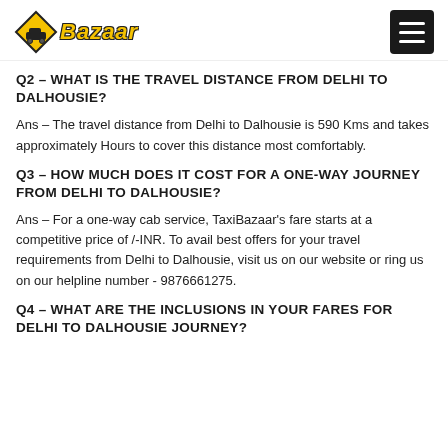Taxi Bazaar
Q2 – WHAT IS THE TRAVEL DISTANCE FROM DELHI TO DALHOUSIE?
Ans – The travel distance from Delhi to Dalhousie is 590 Kms and takes approximately Hours to cover this distance most comfortably.
Q3 – HOW MUCH DOES IT COST FOR A ONE-WAY JOURNEY FROM DELHI TO DALHOUSIE?
Ans – For a one-way cab service, TaxiBazaar's fare starts at a competitive price of /-INR. To avail best offers for your travel requirements from Delhi to Dalhousie, visit us on our website or ring us on our helpline number - 9876661275.
Q4 – WHAT ARE THE INCLUSIONS IN YOUR FARES FOR DELHI TO DALHOUSIE JOURNEY?